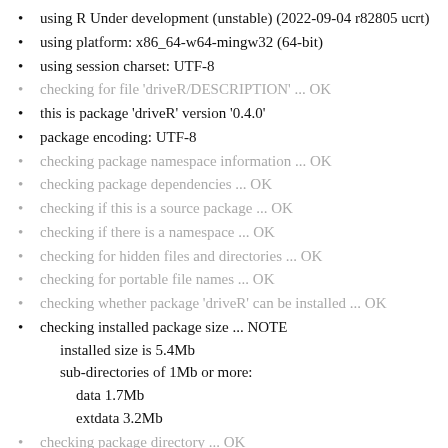using R Under development (unstable) (2022-09-04 r82805 ucrt)
using platform: x86_64-w64-mingw32 (64-bit)
using session charset: UTF-8
checking for file 'driveR/DESCRIPTION' ... OK
this is package 'driveR' version '0.4.0'
package encoding: UTF-8
checking package namespace information ... OK
checking package dependencies ... OK
checking if this is a source package ... OK
checking if there is a namespace ... OK
checking for hidden files and directories ... OK
checking for portable file names ... OK
checking whether package 'driveR' can be installed ... OK
checking installed package size ... NOTE
    installed size is 5.4Mb
    sub-directories of 1Mb or more:
        data 1.7Mb
        extdata 3.2Mb
checking package directory ... OK
checking 'build' directory ... OK
checking DESCRIPTION meta-information ... OK
checking top-level files ... OK
checking for left-over files ... OK